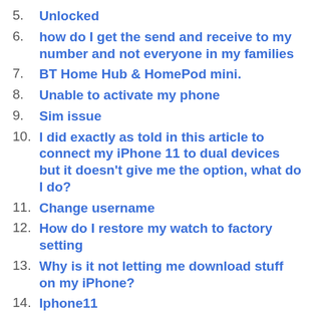5. Unlocked
6. how do I get the send and receive to my number and not everyone in my families
7. BT Home Hub & HomePod mini.
8. Unable to activate my phone
9. Sim issue
10. I did exactly as told in this article to connect my iPhone 11 to dual devices but it doesn't give me the option, what do I do?
11. Change username
12. How do I restore my watch to factory setting
13. Why is it not letting me download stuff on my iPhone?
14. Iphone11